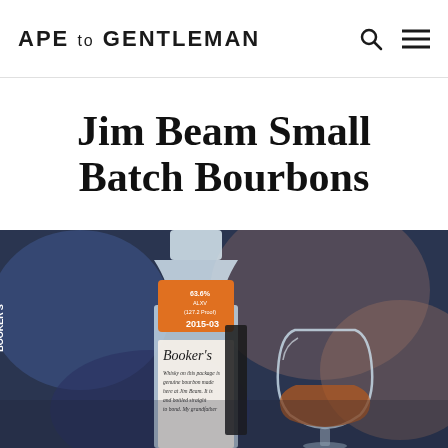APE TO GENTLEMAN
Jim Beam Small Batch Bourbons
[Figure (photo): Close-up photograph of a Booker's bourbon bottle with an orange label reading '2015-03' and showing 63.6% ABV details, alongside a crystal whiskey glass containing amber bourbon, set against a blurred dark blue background.]